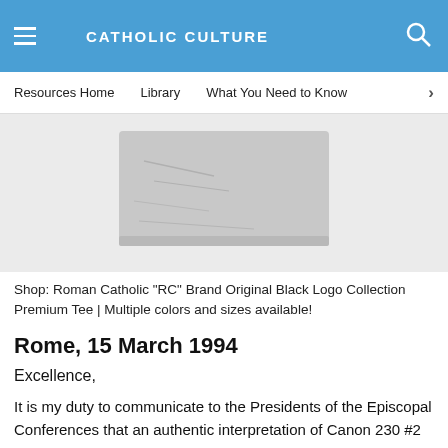CATHOLIC CULTURE
Resources Home   Library   What You Need to Know
[Figure (photo): Gray folded t-shirt product image on light gray background]
Shop: Roman Catholic "RC" Brand Original Black Logo Collection Premium Tee | Multiple colors and sizes available!
Rome, 15 March 1994
Excellence,
It is my duty to communicate to the Presidents of the Episcopal Conferences that an authentic interpretation of Canon 230 #2 of the Code of Canon Law will soon be published in Acta Apostolicae Sedis.
As you know, Canon 230 #2 lays down that: